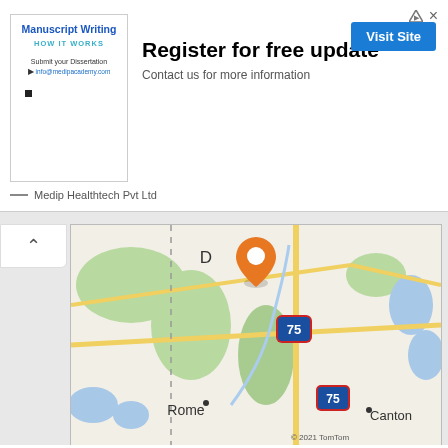[Figure (infographic): Advertisement banner for Manuscript Writing / Medip Healthtech Pvt Ltd with 'Register for free update' headline, 'Contact us for more information' subtext, and 'Visit Site' button]
[Figure (map): Map showing Dalton, GA area with orange location pin marker and Interstate 75 highway markers, showing Rome and Canton cities, copyright 2021 TomTom]
PJ Fresh Marketplace
Restaurant
Address: 142 Carbondale Rd SW, Dalton, GA 30721, USA